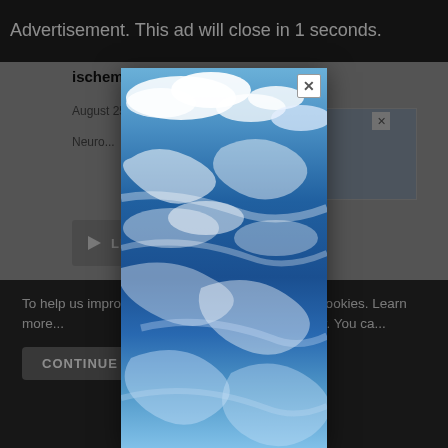Advertisement. This ad will close in 1 seconds.
ischemic stroke.
August 25, 20...
Neuro...
[Figure (screenshot): Listen audio button with play icon]
Subscribe
nt Podcasts »
[Figure (photo): Advertisement modal overlay showing a sky with clouds (blue sky and white clouds photograph)]
To help us improve y... his website uses cookies. Learn more... your settings in our Cookie Policy. You ca...
CONTINUE
FIN...